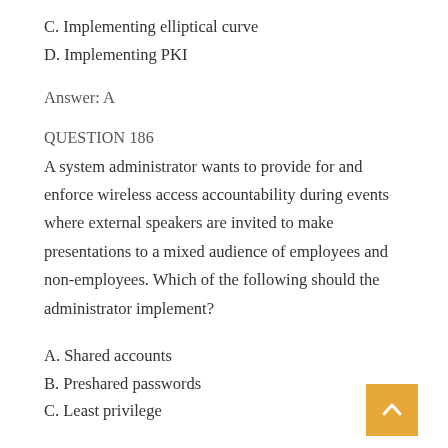C. Implementing elliptical curve
D. Implementing PKI
Answer: A
QUESTION 186
A system administrator wants to provide for and enforce wireless access accountability during events where external speakers are invited to make presentations to a mixed audience of employees and non-employees. Which of the following should the administrator implement?
A. Shared accounts
B. Preshared passwords
C. Least privilege